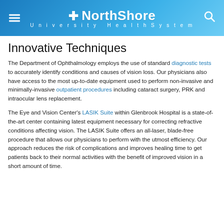NorthShore University HealthSystem
Innovative Techniques
The Department of Ophthalmology employs the use of standard diagnostic tests to accurately identify conditions and causes of vision loss. Our physicians also have access to the most up-to-date equipment used to perform non-invasive and minimally-invasive outpatient procedures including cataract surgery, PRK and intraocular lens replacement.
The Eye and Vision Center's LASIK Suite within Glenbrook Hospital is a state-of-the-art center containing latest equipment necessary for correcting refractive conditions affecting vision. The LASIK Suite offers an all-laser, blade-free procedure that allows our physicians to perform with the utmost efficiency. Our approach reduces the risk of complications and improves healing time to get patients back to their normal activities with the benefit of improved vision in a short amount of time.